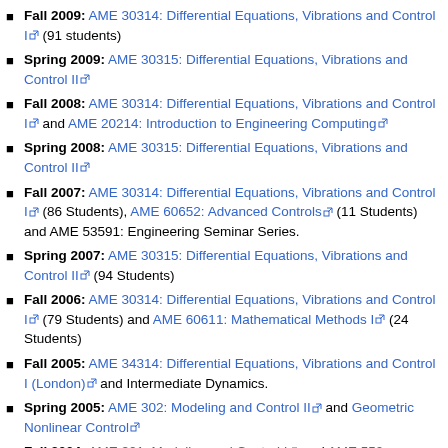Fall 2009: AME 30314: Differential Equations, Vibrations and Control I (91 students)
Spring 2009: AME 30315: Differential Equations, Vibrations and Control II
Fall 2008: AME 30314: Differential Equations, Vibrations and Control I and AME 20214: Introduction to Engineering Computing
Spring 2008: AME 30315: Differential Equations, Vibrations and Control II
Fall 2007: AME 30314: Differential Equations, Vibrations and Control I (86 Students), AME 60652: Advanced Controls (11 Students) and AME 53591: Engineering Seminar Series.
Spring 2007: AME 30315: Differential Equations, Vibrations and Control II (94 Students)
Fall 2006: AME 30314: Differential Equations, Vibrations and Control I (79 Students) and AME 60611: Mathematical Methods I (24 Students)
Fall 2005: AME 34314: Differential Equations, Vibrations and Control I (London) and Intermediate Dynamics.
Spring 2005: AME 302: Modeling and Control II and Geometric Nonlinear Control
Fall 2004: AME 301: Modeling and Control I and AME 550: Advanced Controls
Spring 2004: AME 302: Modeling and Control II (72 students)